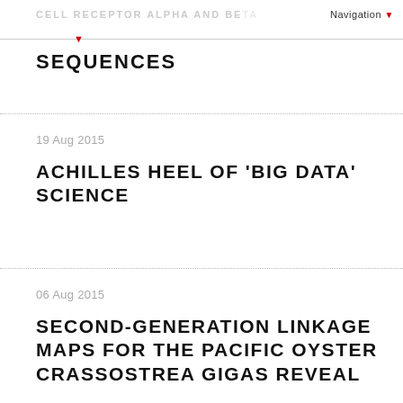CELL RECEPTOR ALPHA AND BETA  Navigation ▼
SEQUENCES
19 Aug 2015
ACHILLES HEEL OF 'BIG DATA' SCIENCE
06 Aug 2015
SECOND-GENERATION LINKAGE MAPS FOR THE PACIFIC OYSTER CRASSOSTREA GIGAS REVEAL...